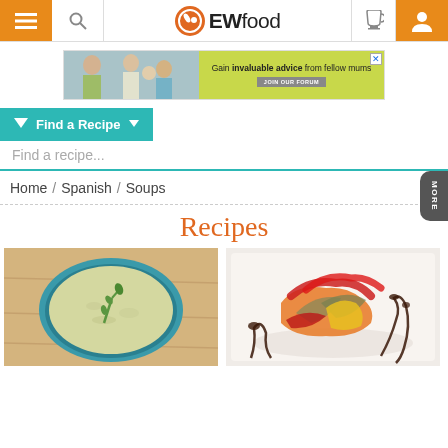EWfood navigation bar with hamburger, search, logo, cup, and user icons
[Figure (screenshot): Advertisement banner: image of women and baby on left, green background with text 'Gain invaluable advice from fellow mums JOIN OUR FORUM' on right with close X button]
Find a Recipe ▼
Find a recipe...
Home / Spanish / Soups
Recipes
[Figure (photo): Photo of green asparagus cream soup in a round blue-rimmed bowl with asparagus sprig garnish on wooden surface]
[Figure (photo): Photo of roasted peppers and vegetables on white plate drizzled with dark balsamic sauce]